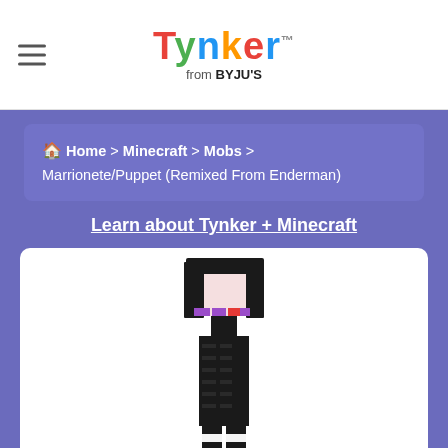Tynker from BYJU'S
Home > Minecraft > Mobs > Marrionete/Puppet (Remixed From Enderman)
Learn about Tynker + Minecraft
[Figure (illustration): 3D rendered Minecraft Enderman mob reskinned as Marrionete/Puppet character with black body, white and black striped legs, and a white/pink face with purple and red accents]